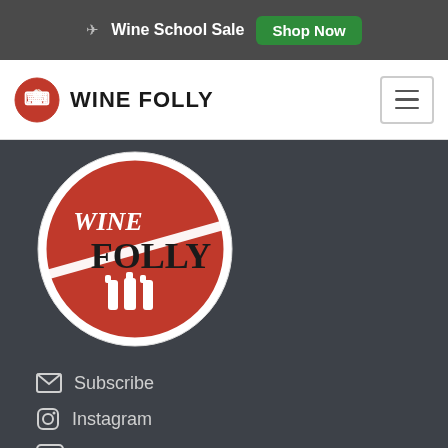Wine School Sale  Shop Now
[Figure (logo): Wine Folly circular logo with red background, white text WINE FOLLY and wine bottle silhouettes]
WINE FOLLY
Subscribe
Instagram
Youtube
Twitter